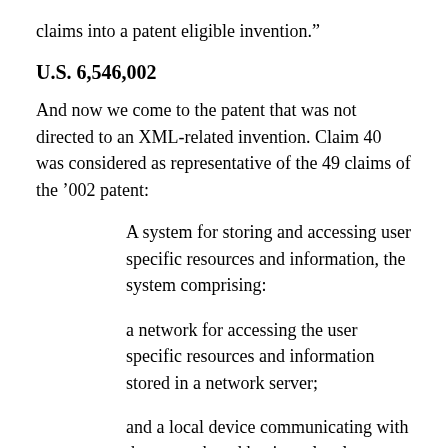claims into a patent eligible invention.”
U.S. 6,546,002
And now we come to the patent that was not directed to an XML-related invention. Claim 40 was considered as representative of the 49 claims of the ’002 patent:
A system for storing and accessing user specific resources and information, the system comprising:
a network for accessing the user specific resources and information stored in a network server;
and a local device communicating with the network and having a local memory and a